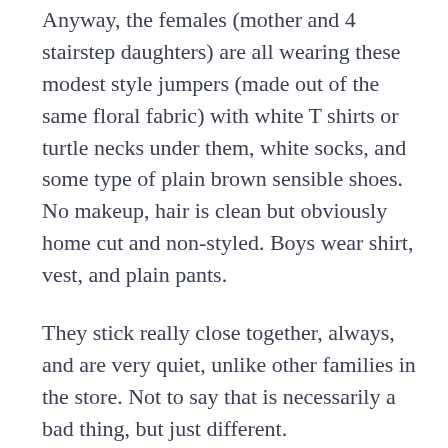Anyway, the females (mother and 4 stairstep daughters) are all wearing these modest style jumpers (made out of the same floral fabric) with white T shirts or turtle necks under them, white socks, and some type of plain brown sensible shoes. No makeup, hair is clean but obviously home cut and non-styled. Boys wear shirt, vest, and plain pants.
They stick really close together, always, and are very quiet, unlike other families in the store. Not to say that is necessarily a bad thing, but just different.
I always wonder about the kids, especially the girls – how do they feel? Obviously